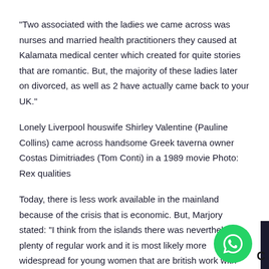“Two associated with the ladies we came across was nurses and married health practitioners they caused at Kalamata medical center which created for quite stories that are romantic. But, the majority of these ladies later on divorced, as well as 2 have actually came back to your UK.”
Lonely Liverpool houswife Shirley Valentine (Pauline Collins) came across handsome Greek taverna owner Costas Dimitriades (Tom Conti) in a 1989 movie Photo: Rex qualities
Today, there is less work available in the mainland because of the crisis that is economic. But, Marjory stated: “I think from the islands there was nevertheless plenty of regular work and it is most likely more widespread for young women that are british work with the hawaiian islands and autumn in deep love with neighborhood guys.
“I do not think the Shirley Valentine impact has ever actually